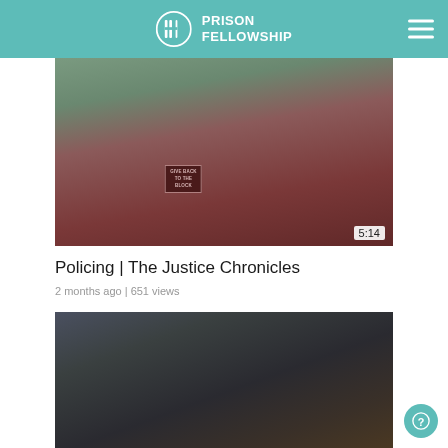Prison Fellowship
[Figure (photo): Man wearing a dark red t-shirt that reads 'GIVE BACK TO THE BLOCK', upper body visible, indoor setting]
5:14
Policing | The Justice Chronicles
2 months ago | 651 views
[Figure (photo): Woman with long braids and glasses smiling, wearing dark clothing, indoor setting with shelves in background]